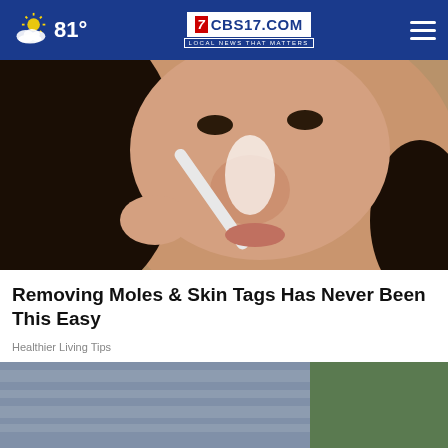81° | CBS17.COM — LOCAL NEWS THAT MATTERS
[Figure (photo): Close-up photo of a woman applying something white to her nose with a tool, skin care procedure]
Removing Moles & Skin Tags Has Never Been This Easy
Healthier Living Tips
[Figure (photo): Partial bottom image with Verizon advertisement overlay. Ad reads: verizon/ Ditch cable and switch to Verizon Home Internet.]